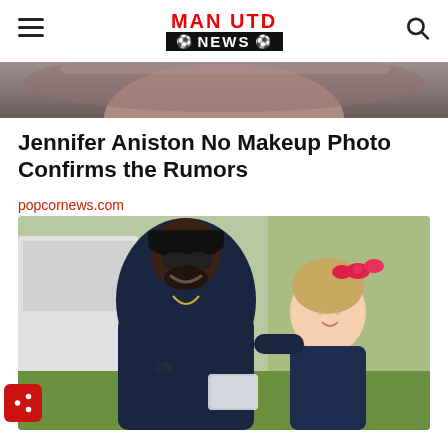MAN UTD NEWS
[Figure (photo): Cropped top portion of a woman's hair/face — partial image at top of article]
Jennifer Aniston No Makeup Photo Confirms the Rumors
popcornews.com
[Figure (photo): A large smiling man with sunglasses, a black cap, navy hoodie, and beard, posing with a small girl who has a pink bow in her hair and wears a navy jacket. Outdoors near a white truck with green lawn in background.]